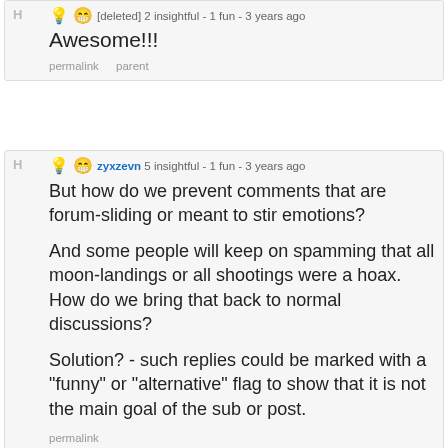[deleted] 2 insightful - 1 fun - 3 years ago
Awesome!!!
permalink   parent
zyxzevn 5 insightful - 1 fun - 3 years ago
But how do we prevent comments that are forum-sliding or meant to stir emotions?
And some people will keep on spamming that all moon-landings or all shootings were a hoax. How do we bring that back to normal discussions?
Solution? - such replies could be marked with a "funny" or "alternative" flag to show that it is not the main goal of the sub or post.
permalink
magnora7[S] 4 insightful - 0 fun - 3 years ago
Moderators can crack down on those things if they choose to do so, that's still within the bounds of what's allowed.
Deciding what's an acceptable narrative and what isn't, is the purpose of the voting system, so I don't think we need an additional flagging system. I